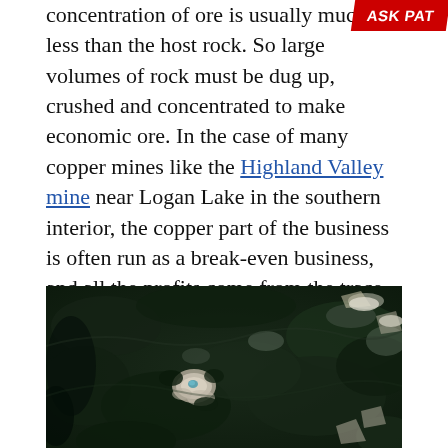concentration of ore is usually much less than the host rock. So large volumes of rock must be dug up, crushed and concentrated to make economic ore. In the case of many copper mines like the Highland Valley mine near Logan Lake in the southern interior, the copper part of the business is often run as a break-even business, and all the profits come from the trace gold, silver, platinum, and other more valuable minerals that are extracted as accessory to the main copper operation (indeed the Morrison deposit reports .2g of gold per tonne, and could have produced up to a million ounces of gold over its life).
[Figure (photo): Satellite aerial photograph showing a copper mine area with dark forested terrain, rocky outcrops, and a light-colored open pit mine visible near the center.]